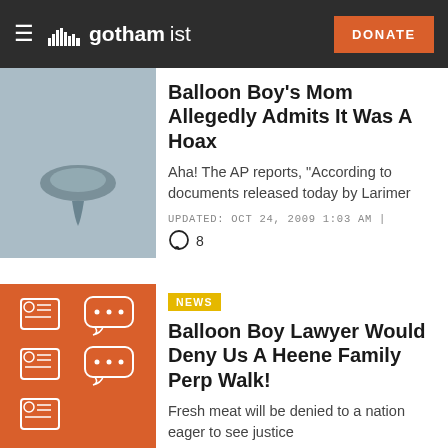gothamist — DONATE
[Figure (photo): Close-up thumbnail image of a balloon or metallic object, grayish-blue tones]
Balloon Boy's Mom Allegedly Admits It Was A Hoax
Aha! The AP reports, "According to documents released today by Larimer
UPDATED: OCT 24, 2009 1:03 AM | 8
[Figure (illustration): Orange square thumbnail with white outline icons of newspaper pages and speech bubbles]
NEWS
Balloon Boy Lawyer Would Deny Us A Heene Family Perp Walk!
Fresh meat will be denied to a nation eager to see justice